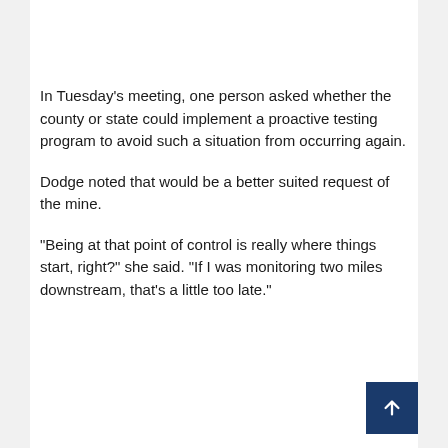In Tuesday’s meeting, one person asked whether the county or state could implement a proactive testing program to avoid such a situation from occurring again.
Dodge noted that would be a better suited request of the mine.
“Being at that point of control is really where things start, right?” she said. “If I was monitoring two miles downstream, that’s a little too late.”